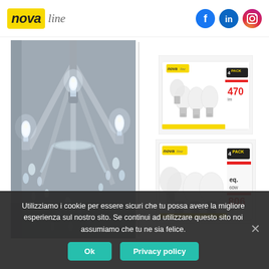[Figure (logo): Nova line logo — 'nova' in bold italic yellow box, 'line' in italic grey]
[Figure (illustration): Social media icons: Facebook (blue circle), LinkedIn (blue circle), Instagram (gradient circle)]
[Figure (photo): Crystal chandelier with glowing candelabra-style LED bulbs, chrome arms, hanging crystal drops]
[Figure (photo): Nova line 4-pack LED light bulb product box (smaller bulbs, 470 lumen)]
[Figure (photo): Nova line 4-pack LED light bulb product box (larger A-shape bulbs, 806 lumen)]
Utilizziamo i cookie per essere sicuri che tu possa avere la migliore esperienza sul nostro sito. Se continui ad utilizzare questo sito noi assumiamo che tu ne sia felice.
Ok
Privacy policy